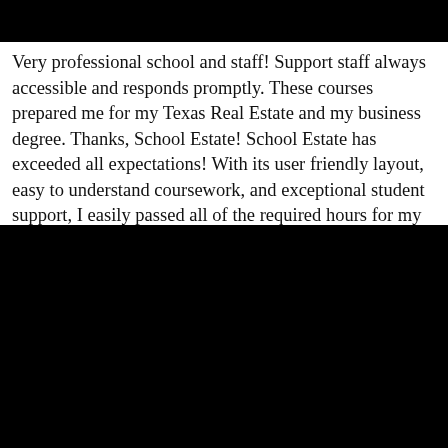[Figure (other): Black bar at top of page]
Very professional school and staff! Support staff always accessible and responds promptly. These courses prepared me for my Texas Real Estate and my business degree. Thanks, School Estate! School Estate has exceeded all expectations! With its user friendly layout, easy to understand coursework, and exceptional student support, I easily passed all of the required hours for my TREC. Blaise, Thank you for your dedication to real estate education and the success of your students. All the best! Texas Real Estate School.
[Figure (other): Black bar at bottom of page]